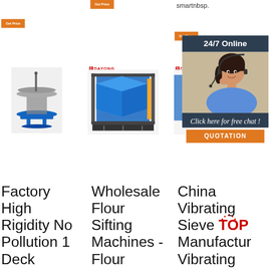smartnbsp.
[Figure (photo): Industrial vibrating sieve/screen machine with blue base]
[Figure (photo): DAYONG branded blue flour sifting machine]
[Figure (photo): DAYONG branded machine (partially visible)]
[Figure (photo): Customer service representative with headset, 24/7 Online chat popup with QUOTATION button]
Factory High Rigidity No Pollution 1 Deck
Wholesale Flour Sifting Machines - Flour
China Vibrating Sieve Manufacturers Vibrating